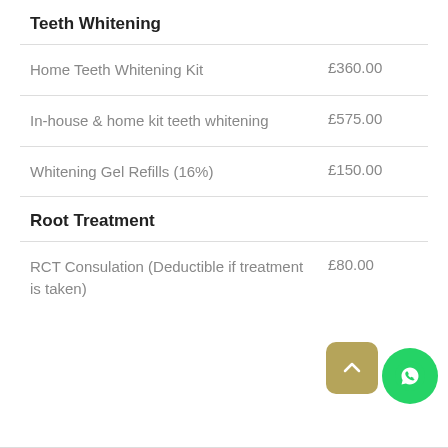Teeth Whitening
| Service | Price |
| --- | --- |
| Home Teeth Whitening Kit | £360.00 |
| In-house & home kit teeth whitening | £575.00 |
| Whitening Gel Refills (16%) | £150.00 |
Root Treatment
| Service | Price |
| --- | --- |
| RCT Consulation (Deductible if treatment is taken) | £80.00 |